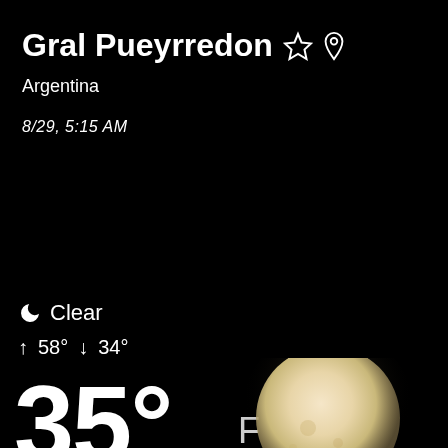Gral Pueyrredon ☆ ⊙
Argentina
8/29, 5:15 AM
🌙 Clear
↑ 58° ↓ 34°
35°
F
[Figure (illustration): Moon illustration, glowing pale beige/cream color, partially visible at bottom right corner of screen]